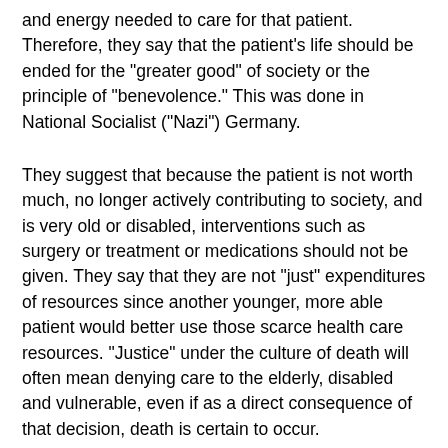and energy needed to care for that patient. Therefore, they say that the patient's life should be ended for the "greater good" of society or the principle of "benevolence." This was done in National Socialist ("Nazi") Germany.
They suggest that because the patient is not worth much, no longer actively contributing to society, and is very old or disabled, interventions such as surgery or treatment or medications should not be given. They say that they are not "just" expenditures of resources since another younger, more able patient would better use those scarce health care resources. "Justice" under the culture of death will often mean denying care to the elderly, disabled and vulnerable, even if as a direct consequence of that decision, death is certain to occur.